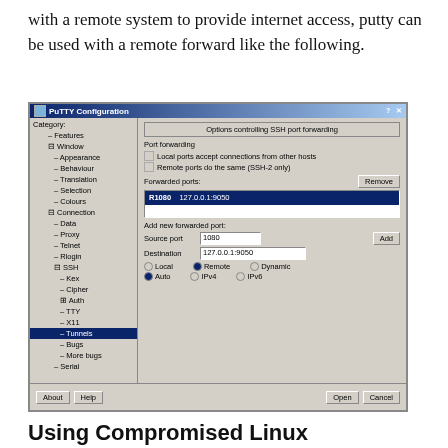with a remote system to provide internet access, putty can be used with a remote forward like the following.
[Figure (screenshot): PuTTY Configuration dialog showing SSH tunnels settings. Category tree on left with Tunnels selected. Right panel shows 'Options controlling SSH port forwarding' with port forwarding checkboxes, a forwarded ports list showing 'R1080 127.0.0.1:9050', and fields to add new forwarded port with Source port '1080', Destination '127.0.0.1:9050', Radio buttons for Local/Remote/Dynamic and Auto/IPv4/IPv6.]
Using Compromised Linux Webserver to Access Internal Network and Database